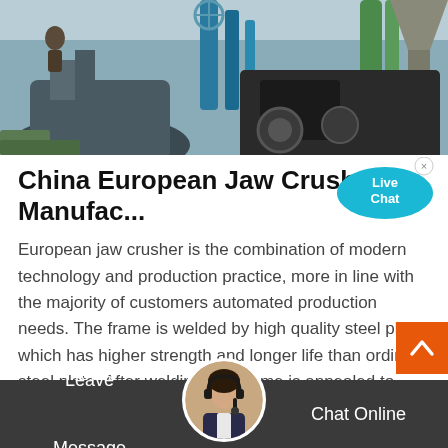[Figure (photo): Industrial machinery/crusher equipment photograph showing blue and grey heavy machinery with pipes, valves and industrial components]
China European Jaw Crusher Manufac...
European jaw crusher is the combination of modern technology and production practice, more in line with the majority of customers automated production needs. The frame is welded by high quality steel plate, which has higher strength and longer life than ordinary steel plate. After welding, the frame is annealed to avoid stress concentration ...
[Figure (other): Live Chat bubble icon with text 'Live Chat' in cyan/blue speech bubble with X close button]
[Figure (other): Customer service avatar photo of woman with headset in circular frame at bottom center]
Leave Message   Chat Online